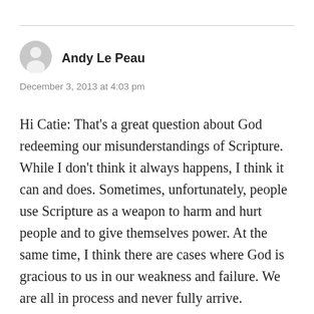[Figure (illustration): Gray user avatar icon (silhouette of a person's head and shoulders) next to the author name Andy Le Peau]
Andy Le Peau
December 3, 2013 at 4:03 pm
Hi Catie: That's a great question about God redeeming our misunderstandings of Scripture. While I don't think it always happens, I think it can and does. Sometimes, unfortunately, people use Scripture as a weapon to harm and hurt people and to give themselves power. At the same time, I think there are cases where God is gracious to us in our weakness and failure. We are all in process and never fully arrive. Knowing that helps us maintain a humble attitude to God, toward Scripture and